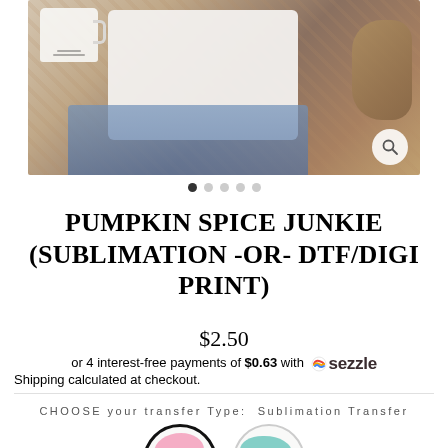[Figure (photo): Product lifestyle photo showing a white t-shirt, a white mug, denim jeans, and rustic accessories on a patterned background. Has a search/zoom icon in the bottom right.]
● ○ ○ ○ ○
PUMPKIN SPICE JUNKIE (SUBLIMATION -OR- DTF/DIGI PRINT)
$2.50
or 4 interest-free payments of $0.63 with 🍬 sezzle
Shipping calculated at checkout.
CHOOSE your transfer Type:  Sublimation Transfer
[Figure (illustration): Two circular buttons: 'SUBLIMATION' with a pink blob design, and 'DTF /' with a teal blob design. Sublimation has a bold black border.]